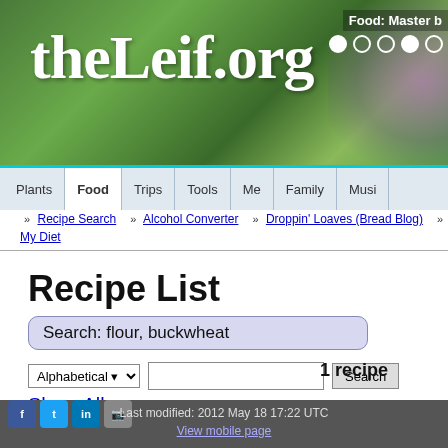theLeif.org — Food: Master b
Plants | Food | Trips | Tools | Me | Family | Musi
» Recipe Search  » Alcohol Converter  » Droppin' Loaves (Bread Blog)  » My Diet
Recipe List
Search: flour, buckwheat
Alphabetical ▾   Search   1 recipe
Show All
[Figure (photo): Photo of buckwheat pancakes with raspberries and walnuts]
Buckwheat pancakes
Last modified: 2012 May 18 17:22 UTC
View mobile page